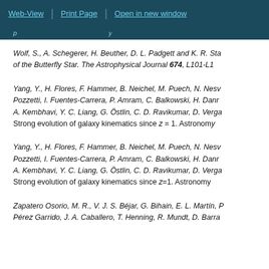Web-View | Print Page | Open in new window
Wolf, S., A. Schegerer, H. Beuther, D. L. Padgett and K. R. Sta... of the Butterfly Star. The Astrophysical Journal 674, L101-L1...
Yang, Y., H. Flores, F. Hammer, B. Neichel, M. Puech, N. Nesv... Pozzetti, I. Fuentes-Carrera, P. Amram, C. Balkowski, H. Danr... A. Kembhavi, Y. C. Liang, G. Östlin, C. D. Ravikumar, D. Verga... Strong evolution of galaxy kinematics since z = 1. Astronomy...
Yang, Y., H. Flores, F. Hammer, B. Neichel, M. Puech, N. Nesv... Pozzetti, I. Fuentes-Carrera, P. Amram, C. Balkowski, H. Danr... A. Kembhavi, Y. C. Liang, G. Östlin, C. D. Ravikumar, D. Verga... Strong evolution of galaxy kinematics since z=1. Astronomy...
Zapatero Osorio, M. R., V. J. S. Béjar, G. Bihain, E. L. Martín, P... Pérez Garrido, J. A. Caballero, T. Henning, R. Mundt, D. Barra...